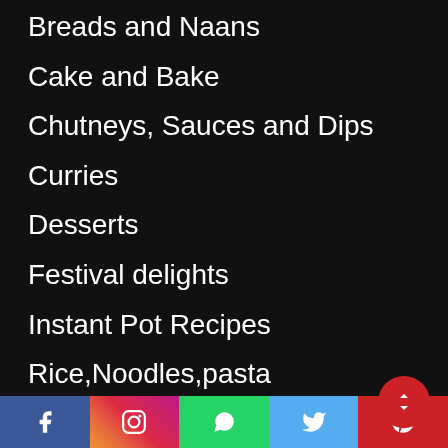Breads and Naans
Cake and Bake
Chutneys, Sauces and Dips
Curries
Desserts
Festival delights
Instant Pot Recipes
Rice,Noodles,pasta
Smoothies
Soups and Salads
Tips and Tricks
[Figure (infographic): Social media share bar with Facebook, Instagram, WhatsApp, Twitter, Pinterest icons]